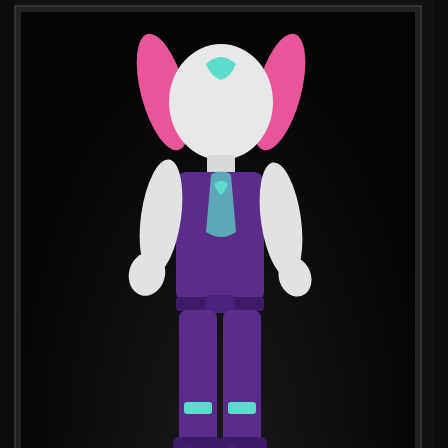[Figure (photo): Product photo collage showing a purple and teal action figure toy with pink hair/ears, white arms and hands, wearing a purple bodysuit with teal accents and teal-tipped boots. The main large panel shows the full figure body. Two smaller panels at the bottom show close-up details (white rounded parts, likely the figure's head/hands detail shots). All panels are set against a dark/black background with dark gray borders.]